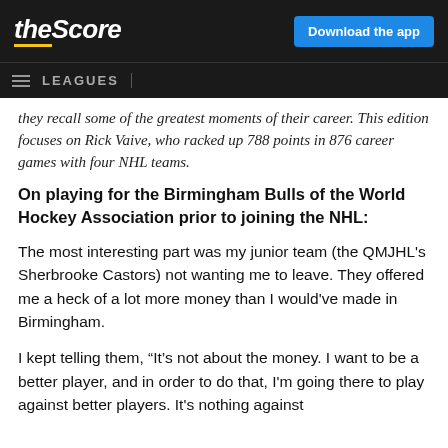theScore — Download the app
LEAGUES
they recall some of the greatest moments of their career. This edition focuses on Rick Vaive, who racked up 788 points in 876 career games with four NHL teams.
On playing for the Birmingham Bulls of the World Hockey Association prior to joining the NHL:
The most interesting part was my junior team (the QMJHL's Sherbrooke Castors) not wanting me to leave. They offered me a heck of a lot more money than I would've made in Birmingham.
I kept telling them, “It’s not about the money. I want to be a better player, and in order to do that, I'm going there to play against better players. It's nothing against